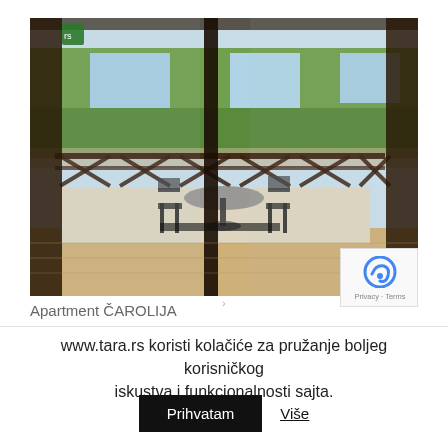[Figure (photo): Balcony photo of Apartment ČAROLIJA showing iron chairs and table on a wooden-floor balcony with a view of pine trees through glass doors]
Apartment ČAROLIJA
www.tara.rs koristi kolačiće za pružanje boljeg korisničkog iskustva i funkcionalnosti sajta.
Prihvatam  Više